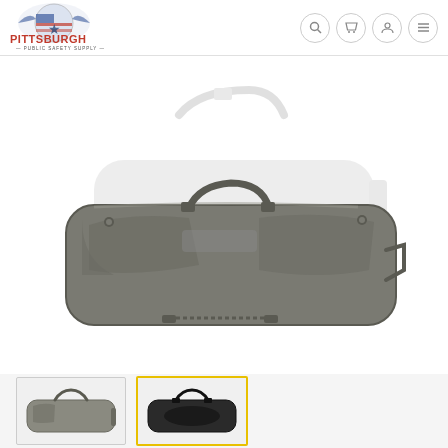[Figure (logo): Pittsburgh Public Safety Supply logo with eagle and American flag motif, red and blue text]
[Figure (photo): Main product image: gray/olive tactical rifle bag/gun case with handle, zipper pockets, and straps. Ghost/watermark version behind the solid bag.]
[Figure (photo): Thumbnail 1: gray tactical rifle bag, unselected]
[Figure (photo): Thumbnail 2: black tactical rifle bag with handle, selected (yellow border)]